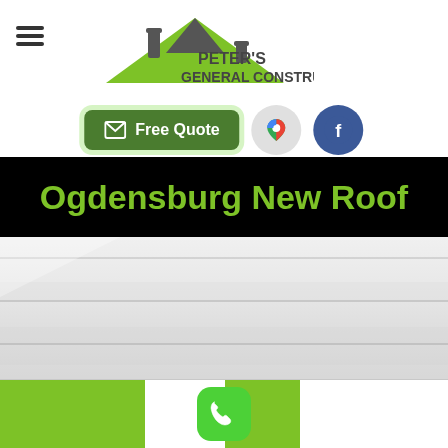[Figure (logo): Peter's General Construction LLC logo with green house/roof icon and company name]
Free Quote
[Figure (infographic): Google Maps icon circle and Facebook icon circle]
Ogdensburg New Roof
[Figure (photo): Close-up photo of white/grey roofing material showing horizontal rows of shingles or siding]
[Figure (other): Green phone call button at the bottom center of the page]